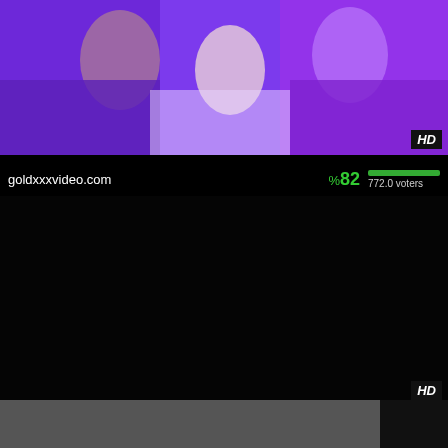[Figure (photo): Video thumbnail showing people in purple outfits, HD badge in bottom right]
goldxxxvideo.com   %82   772.0 voters
[Figure (photo): Dark/black video thumbnail with HD badge]
rexpornvids.com   %89   941.0 voters
[Figure (photo): Partially visible third video thumbnail at bottom]